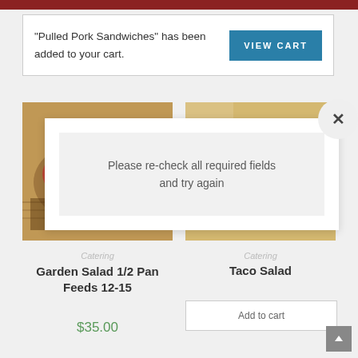"Pulled Pork Sandwiches" has been added to your cart.
VIEW CART
[Figure (photo): Food photo - Garden salad in a pan]
[Figure (photo): Food photo - Taco salad]
Please re-check all required fields and try again
Catering
Garden Salad 1/2 Pan Feeds 12-15
Catering
Taco Salad
$35.00
Add to cart